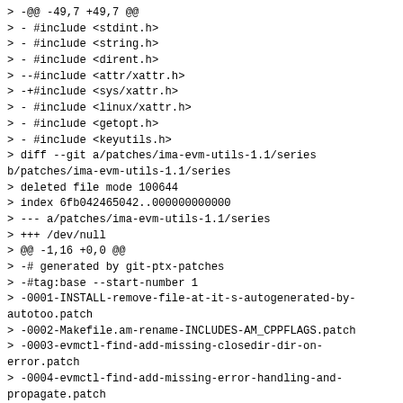> -@@ -49,7 +49,7 @@
> - #include <stdint.h>
> - #include <string.h>
> - #include <dirent.h>
> --#include <attr/xattr.h>
> -+#include <sys/xattr.h>
> - #include <linux/xattr.h>
> - #include <getopt.h>
> - #include <keyutils.h>
> diff --git a/patches/ima-evm-utils-1.1/series b/patches/ima-evm-utils-1.1/series
> deleted file mode 100644
> index 6fb042465042..000000000000
> --- a/patches/ima-evm-utils-1.1/series
> +++ /dev/null
> @@ -1,16 +0,0 @@
> -# generated by git-ptx-patches
> -#tag:base --start-number 1
> -0001-INSTALL-remove-file-at-it-s-autogenerated-by-autotoo.patch
> -0002-Makefile.am-rename-INCLUDES-AM_CPPFLAGS.patch
> -0003-evmctl-find-add-missing-closedir-dir-on-error.patch
> -0004-evmctl-find-add-missing-error-handling-and-propagate.patch
> -0005-evmctl-add-fallback-definitions-for-XATTR_NAME_IMA.patch
> -0006-evmctl-libimaevm-use-EVP_MAX_MD_SIZE-for-hash-size-i.patch
> -0007-libimaevm-use-SHA_DIGEST_LENGTH-instead-of-